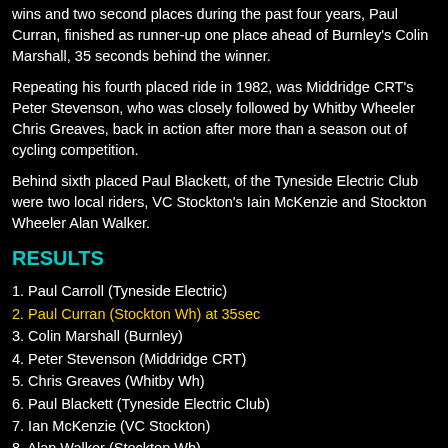wins and two second places during the past four years, Paul Curran, finished as runner-up one place ahead of Burnley's Colin Marshall, 35 seconds behind the winner.
Repeating his fourth placed ride in 1982, was Middridge CRT's Peter Stevenson, who was closely followed by Whitby Wheeler Chris Greaves, back in action after more than a season out of cycling competition.
Behind sixth placed Paul Blackett, of the Tyneside Electric Club were two local riders, VC Stockton's Iain McKenzie and Stockton Wheeler Alan Walker.
RESULTS
1. Paul Carroll (Tyneside Electric)
2. Paul Curran (Stockton Wh) at 35sec
3. Colin Marshall (Burnley)
4. Peter Stevenson (Middridge CRT)
5. Chris Greaves (Whitby Wh)
6. Paul Blackett (Tyneside Electric Club)
7. Ian McKenzie (VC Stockton)
8. Alan Walker (Stockton Wh)